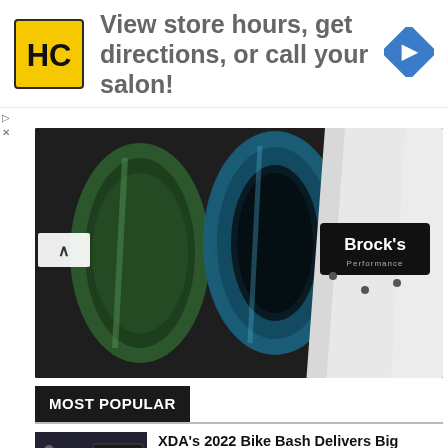[Figure (infographic): Advertisement banner with HC logo (yellow square with HC letters), text 'View store hours, get directions, or call your salon!', and a blue diamond navigation arrow icon]
[Figure (photo): Close-up photo of three motorcycle exhaust mufflers - green, teal/blue, and white with Brock's Performance branding label, on dark background]
MOST POPULAR
[Figure (photo): Thumbnail image of motorcycle drag racing event showing '232.23' speed number on a display board, with motorcycle and crowd]
XDA's 2022 Bike Bash Delivers Big Numbers this Summer
September 5, 2022